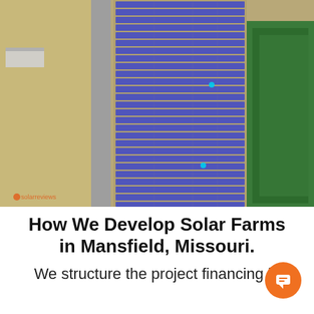[Figure (photo): Aerial satellite view of a large solar farm in Mansfield, Missouri. Rows of blue solar panels are arranged in a grid pattern across a large agricultural field. A road runs along the left side with a small building visible. Dense green trees are visible on the right side.]
How We Develop Solar Farms in Mansfield, Missouri.
We structure the project financing in